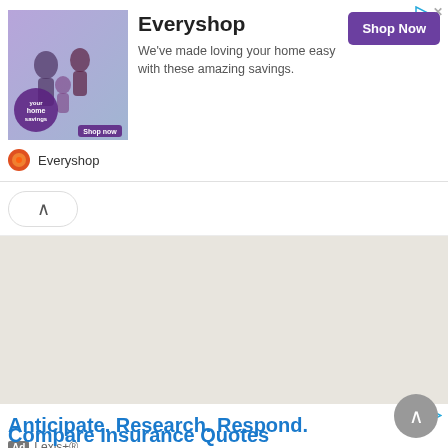[Figure (screenshot): Everyshop advertisement banner with image of family dancing, brand name, tagline, and Shop Now button]
Everyshop
We've made loving your home easy with these amazing savings.
Shop Now
Everyshop
[Figure (screenshot): Collapse/chevron-up button on white bar]
[Figure (screenshot): Gray beige content area (map or page background)]
Anticipate. Research. Respond.
Ad  Lexis+®
[Figure (screenshot): Scroll to top circular button with chevron up]
Compare Insurance Quotes